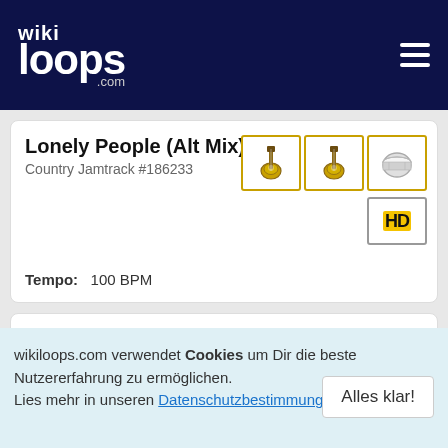wikiloops.com
Lonely People (Alt Mix)
Country Jamtrack #186233
Tempo: 100 BPM
Free for All !
Country Jamtrack #196485
Takt: 4/4
wikiloops.com verwendet Cookies um Dir die beste Nutzererfahrung zu ermöglichen. Lies mehr in unseren Datenschutzbestimmungen .